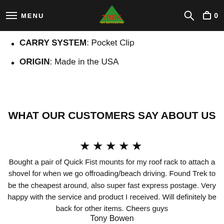MENU | TREK [logo] | search | cart 0
CARRY SYSTEM: Pocket Clip
ORIGIN: Made in the USA
WHAT OUR CUSTOMERS SAY ABOUT US
★★★★★
Bought a pair of Quick Fist mounts for my roof rack to attach a shovel for when we go offroading/beach driving. Found Trek to be the cheapest around, also super fast express postage. Very happy with the service and product I received. Will definitely be back for other items. Cheers guys
Tony Bowen